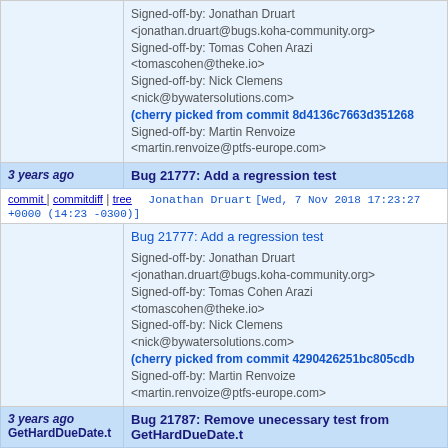Signed-off-by: Jonathan Druart <jonathan.druart@bugs.koha-community.org>
Signed-off-by: Tomas Cohen Arazi <tomascohen@theke.io>
Signed-off-by: Nick Clemens <nick@bywatersolutions.com>
(cherry picked from commit 8d4136c7663d351268
Signed-off-by: Martin Renvoize <martin.renvoize@ptfs-europe.com>
3 years ago | Bug 21777: Add a regression test
commit | commitdiff | tree   Jonathan Druart [Wed, 7 Nov 2018 17:23:27 +0000 (14:23 -0300)]
Bug 21777: Add a regression test

Signed-off-by: Jonathan Druart <jonathan.druart@bugs.koha-community.org>
Signed-off-by: Tomas Cohen Arazi <tomascohen@theke.io>
Signed-off-by: Nick Clemens <nick@bywatersolutions.com>
(cherry picked from commit 4290426251bc805cdb
Signed-off-by: Martin Renvoize <martin.renvoize@ptfs-europe.com>
3 years ago GetHardDueDate.t | Bug 21787: Remove unecessary test from GetHardDueDate.t
commit | commitdiff | tree   Jonathan Druart [Thu, 8 Nov 2018